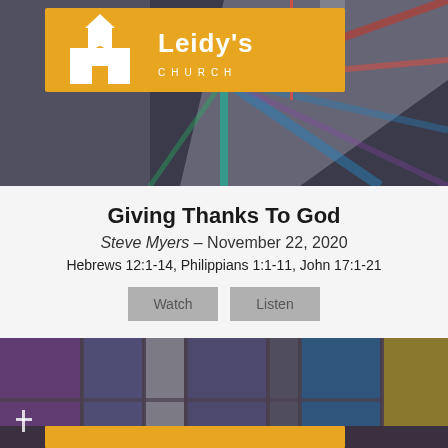[Figure (photo): Leidy's Church logo on gold/amber background overlaid on a dark blurred stained glass church interior image]
Giving Thanks To God
Steve Myers – November 22, 2020
Hebrews 12:1-14, Philippians 1:1-11, John 17:1-21
[Figure (screenshot): Two buttons: Watch and Listen]
[Figure (photo): Blurred stained glass church interior with colorful panels in purple, blue, red, yellow tones and a partial gold banner at bottom]